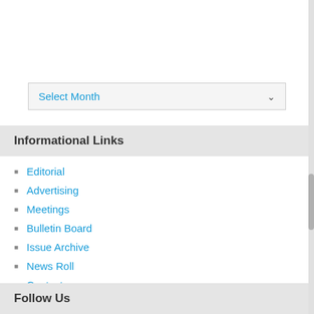Select Month
Informational Links
Editorial
Advertising
Meetings
Bulletin Board
Issue Archive
News Roll
Contact
Follow Us